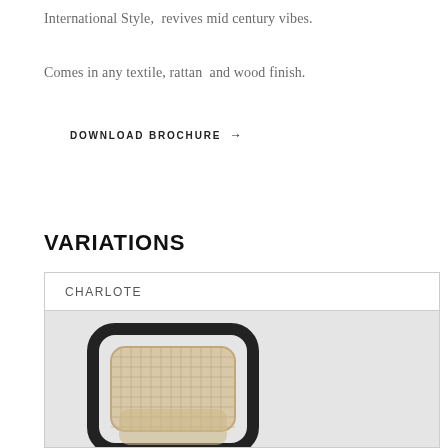International Style,  revives mid century vibes.
Comes in any textile, rattan  and wood finish.
DOWNLOAD BROCHURE →
VARIATIONS
| CHARLOTE |
| --- |
[Figure (photo): Photo of a chair with dark frame and woven rattan back and seat, displayed against a light gray background.]